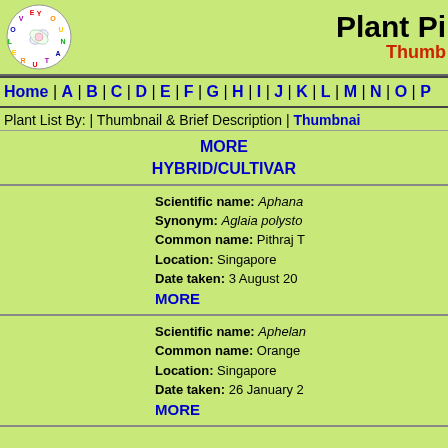Plant Pi — Thumbnail
Home | A | B | C | D | E | F | G | H | I | J | K | L | M | N | O | P
Plant List By: | Thumbnail & Brief Description | Thumbnail
MORE
HYBRID/CULTIVAR
Scientific name: Aphana... Synonym: Aglaia polysta... Common name: Pithraj T... Location: Singapore Date taken: 3 August 20... MORE
Scientific name: Aphelan... Common name: Orange... Location: Singapore Date taken: 26 January 2... MORE